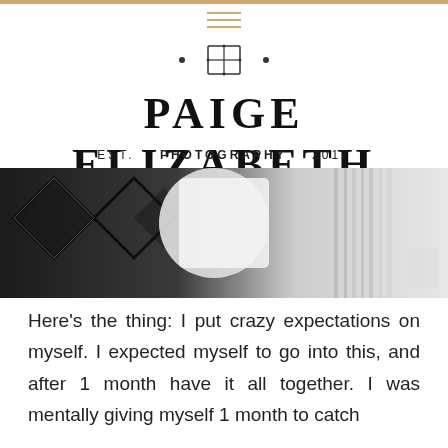[Figure (logo): Paige Elizabeth Photography logo with decorative cross/grid icon flanked by dots, hamburger menu icon above]
PAIGE ELIZABETH
EST.   PHOTOGRAPHY   2017
[Figure (photo): Overhead photo showing a person holding a white mug over a black and white geometric patterned rug/blanket]
Here’s the thing: I put crazy expectations on myself. I expected myself to go into this, and after 1 month have it all together. I was mentally giving myself 1 month to catch